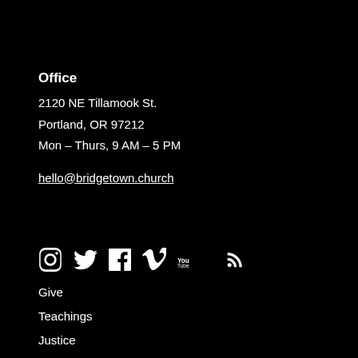Office
2120 NE Tillamook St.
Portland, OR 97212
Mon – Thurs, 9 AM – 5 PM
hello@bridgetown.church
[Figure (other): Row of social media icons: Instagram, Twitter, Facebook, Vimeo, YouTube, RSS]
Give
Teachings
Justice
Bookstore